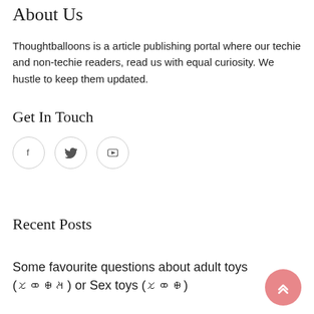About Us
Thoughtballoons is a article publishing portal where our techie and non-techie readers, read us with equal curiosity. We hustle to keep them updated.
Get In Touch
[Figure (illustration): Three social media icon circles: Facebook (f), Twitter (bird), YouTube (play icon)]
Recent Posts
Some favourite questions about adult toys (𑁡𑁢𑁣𑁤) or Sex toys (𑁡𑁢𑁣)